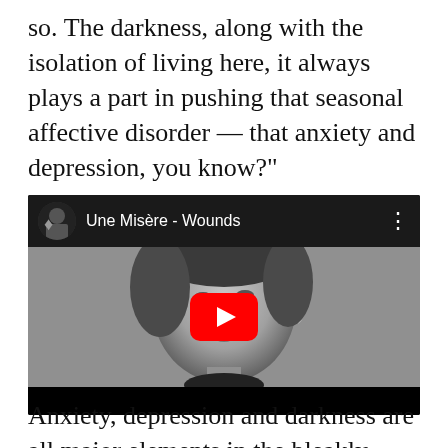so. The darkness, along with the isolation of living here, it always plays a part in pushing that seasonal affective disorder — that anxiety and depression, you know?"
[Figure (screenshot): YouTube video embed showing 'Une Misère - Wounds' with a black and white close-up face thumbnail and red YouTube play button]
Anxiety, depression and darkness are all major elements in the bleakly visceral music of Une